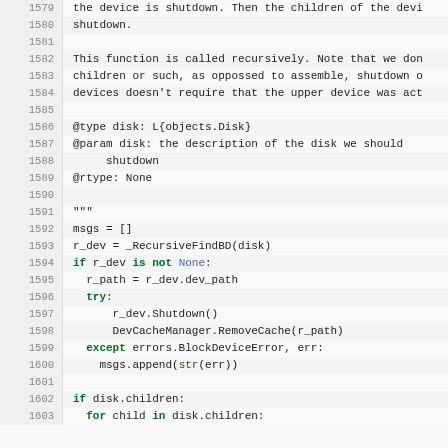Code listing lines 1579-1603, Python source code showing a shutdown function with docstring and implementation.